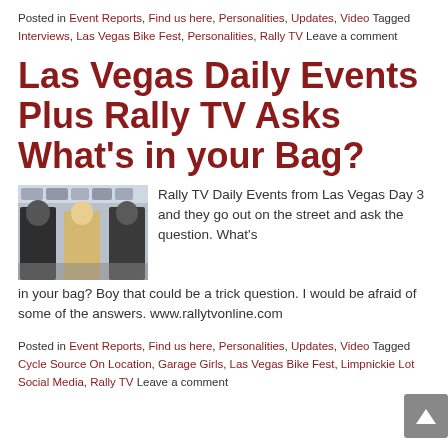Posted in Event Reports, Find us here, Personalities, Updates, Video Tagged Interviews, Las Vegas Bike Fest, Personalities, Rally TV Leave a comment
Las Vegas Daily Events Plus Rally TV Asks What's in your Bag?
[Figure (photo): Three people seated at a table with sponsor banners in the background, appearing to be at an event or interview setting.]
Rally TV Daily Events from Las Vegas Day 3 and they go out on the street and ask the question. What's in your bag? Boy that could be a trick question. I would be afraid of some of the answers. www.rallytvonline.com
Posted in Event Reports, Find us here, Personalities, Updates, Video Tagged Cycle Source On Location, Garage Girls, Las Vegas Bike Fest, Limpnickie Lot Social Media, Rally TV Leave a comment